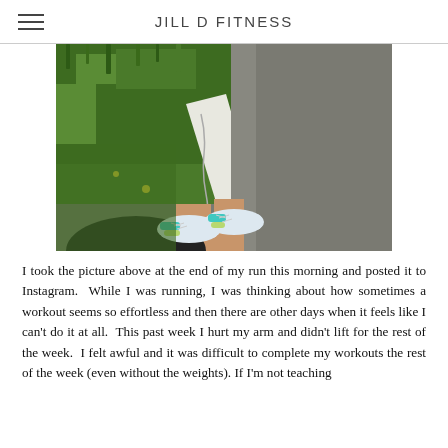JILL D FITNESS
[Figure (photo): Overhead view of a person's feet in teal and white running shoes standing on the edge of a sidewalk curb, with green grass on the left and gray asphalt on the right, white painted curb stripe visible.]
I took the picture above at the end of my run this morning and posted it to Instagram.  While I was running, I was thinking about how sometimes a workout seems so effortless and then there are other days when it feels like I can't do it at all.  This past week I hurt my arm and didn't lift for the rest of the week.  I felt awful and it was difficult to complete my workouts the rest of the week (even without the weights). If I'm not teaching